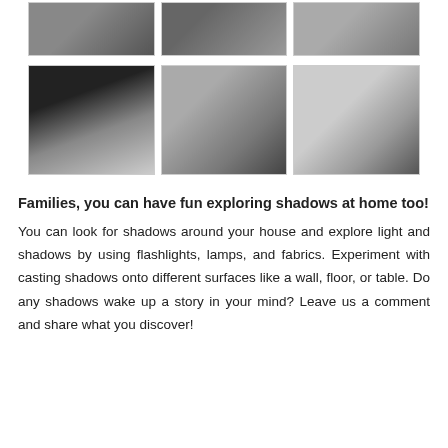[Figure (photo): Top row of three photos showing children exploring shadows in a museum/classroom setting]
[Figure (photo): Second row of three photos: a child in black t-shirt making shadows, children sitting on floor with light projection, and a hand making a shadow puppet on a white surface]
Families, you can have fun exploring shadows at home too!
You can look for shadows around your house and explore light and shadows by using flashlights, lamps, and fabrics. Experiment with casting shadows onto different surfaces like a wall, floor, or table. Do any shadows wake up a story in your mind? Leave us a comment and share what you discover!